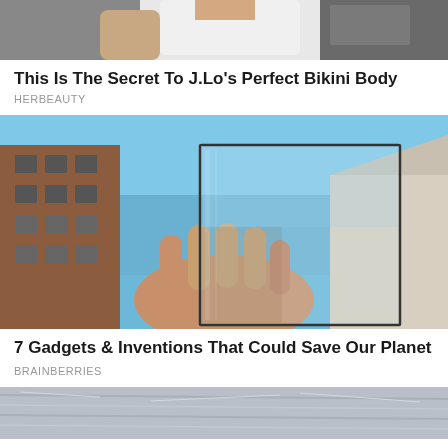[Figure (photo): Partial cropped photo of a person, top portion of article about J.Lo's bikini body]
This Is The Secret To J.Lo's Perfect Bikini Body
HERBEAUTY
[Figure (photo): A hand holding a transparent square piece of glass or solar panel up against a blue sky, with brick buildings in the background]
7 Gadgets & Inventions That Could Save Our Planet
BRAINBERRIES
[Figure (photo): Partial cropped photo at bottom, appears to be a rippled water surface or textured grey surface]